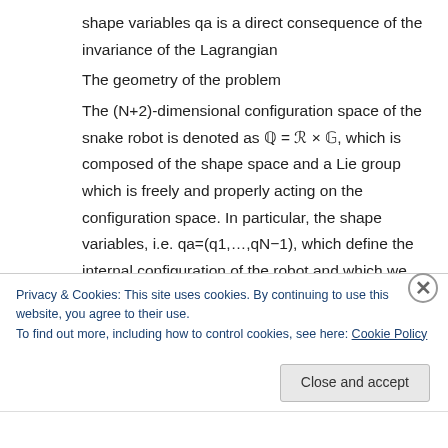shape variables qa is a direct consequence of the invariance of the Lagrangian
The geometry of the problem
The (N+2)-dimensional configuration space of the snake robot is denoted as ℚ = ℛ × 𝔾, which is composed of the shape space and a Lie group which is freely and properly acting on the configuration space. In particular, the shape variables, i.e. qa=(q1,…,qN−1), which define the internal configuration of the robot and which we have direct control on, take values in . Moreover,
Privacy & Cookies: This site uses cookies. By continuing to use this website, you agree to their use.
To find out more, including how to control cookies, see here: Cookie Policy